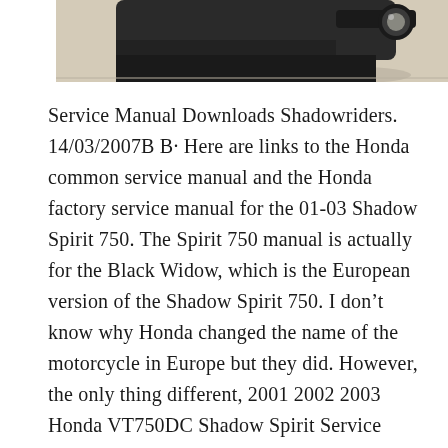[Figure (photo): Partial photo of a motorcycle or scooter on a light concrete surface, cropped at top, showing lower portion of the vehicle.]
Service Manual Downloads Shadowriders. 14/03/2007B B· Here are links to the Honda common service manual and the Honda factory service manual for the 01-03 Shadow Spirit 750. The Spirit 750 manual is actually for the Black Widow, which is the European version of the Shadow Spirit 750. I don't know why Honda changed the name of the motorcycle in Europe but they did. However, the only thing different, 2001 2002 2003 Honda VT750DC Shadow Spirit Service Repair Manual DOWNLOAD ( 01 02 03 ) This is the most complete Service Repair Manual for the 2001-2003 Honda VT750DC Shadow Spirit ever compiled by mankind. This